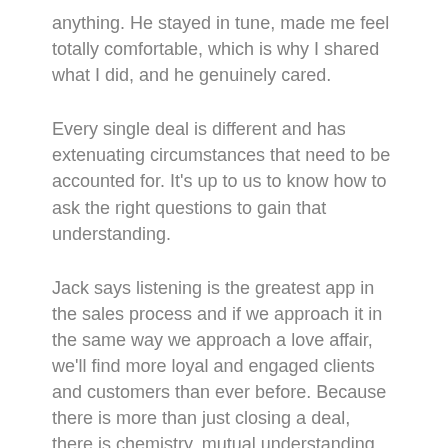anything. He stayed in tune, made me feel totally comfortable, which is why I shared what I did, and he genuinely cared.
Every single deal is different and has extenuating circumstances that need to be accounted for. It's up to us to know how to ask the right questions to gain that understanding.
Jack says listening is the greatest app in the sales process and if we approach it in the same way we approach a love affair, we'll find more loyal and engaged clients and customers than ever before. Because there is more than just closing a deal, there is chemistry, mutual understanding, and a business relationship there that deserves all the work we put into the romantic relationships in our lives.